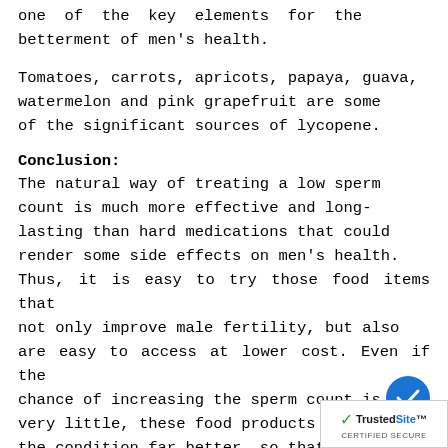one of the key elements for the betterment of men's health.
Tomatoes, carrots, apricots, papaya, guava, watermelon and pink grapefruit are some of the significant sources of lycopene.
Conclusion:
The natural way of treating a low sperm count is much more effective and long-lasting than hard medications that could render some side effects on men's health. Thus, it is easy to try those food items that not only improve male fertility, but also are easy to access at lower cost. Even if the chance of increasing the sperm count is very little, these food products can make the condition far better, so that partner can conceive successfully.